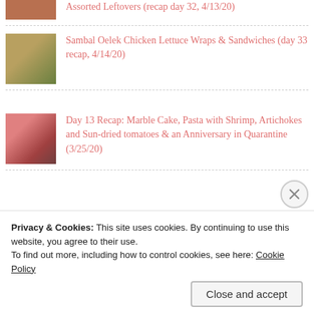Assorted Leftovers (recap day 32, 4/13/20)
Sambal Oelek Chicken Lettuce Wraps & Sandwiches (day 33 recap, 4/14/20)
Day 13 Recap: Marble Cake, Pasta with Shrimp, Artichokes and Sun-dried tomatoes & an Anniversary in Quarantine (3/25/20)
Day 23 Recap: Sausage and Hominy & Kalua Pork (4/4/20)
Archives
Privacy & Cookies: This site uses cookies. By continuing to use this website, you agree to their use.
To find out more, including how to control cookies, see here: Cookie Policy
Close and accept